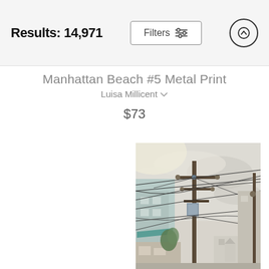Results: 14,971
Filters
Manhattan Beach #5 Metal Print
Luisa Millicent
$73
[Figure (photo): Watercolor painting of a street scene with utility poles, power lines, and buildings under a pale overcast sky. Shows a coastal California neighborhood with utility/telephone poles prominently in the center, buildings on the left, and a hazy sky background.]